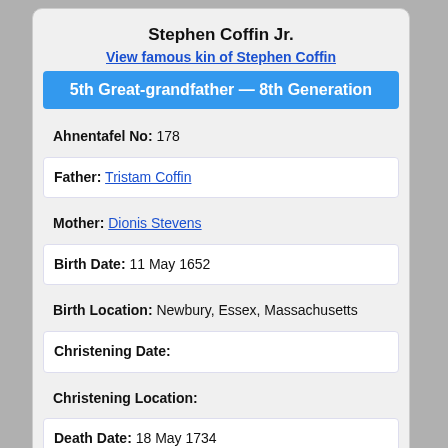Stephen Coffin Jr.
View famous kin of Stephen Coffin
5th Great-grandfather — 8th Generation
Ahnentafel No: 178
Father: Tristam Coffin
Mother: Dionis Stevens
Birth Date: 11 May 1652
Birth Location: Newbury, Essex, Massachusetts
Christening Date:
Christening Location:
Death Date: 18 May 1734
Death Location: Nantucket, Nantucket Co., Massachusetts
Burial Date: